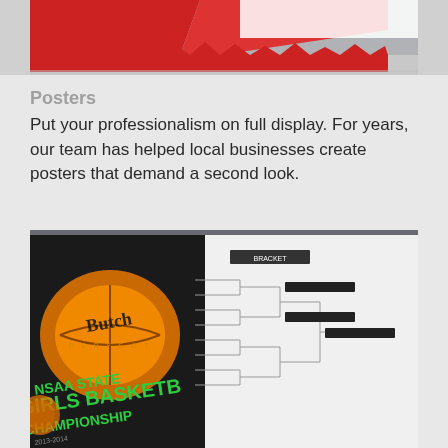[Figure (photo): Partial view of a red and white design, likely the top portion of a poster or flag, cropped at the top of the page]
Posters
Put your professionalism on full display. For years, our team has helped local businesses create posters that demand a second look.
[Figure (photo): Photo of an open booklet/program showing a basketball tournament bracket on the right page and a dark cover with NSAA STATE GIRLS BASKETBALL CHAMPIONSHIP 2013-2014 text and a basketball image on the left page]